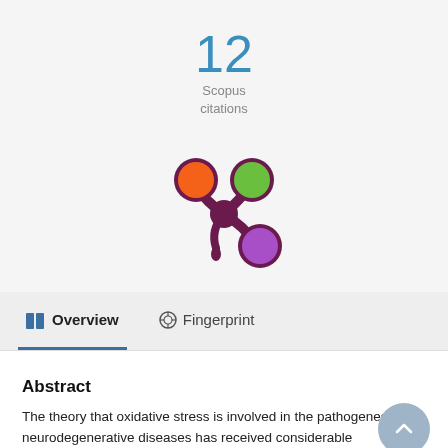12
Scopus
citations
[Figure (logo): Altmetric/Pure logo with colored circles (orange, green, purple) in a splat/asterisk shape on a light grey background]
Overview
Fingerprint
Abstract
The theory that oxidative stress is involved in the pathogenesis of neurodegenerative diseases has received considerable